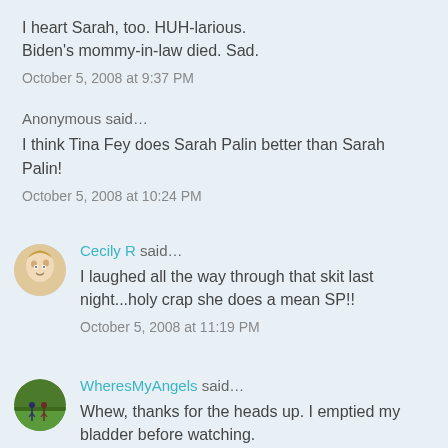I heart Sarah, too. HUH-larious. Biden's mommy-in-law died. Sad.
October 5, 2008 at 9:37 PM
Anonymous said…
I think Tina Fey does Sarah Palin better than Sarah Palin!
October 5, 2008 at 10:24 PM
Cecily R said…
I laughed all the way through that skit last night...holy crap she does a mean SP!!
October 5, 2008 at 11:19 PM
WheresMyAngels said…
Whew, thanks for the heads up. I emptied my bladder before watching.